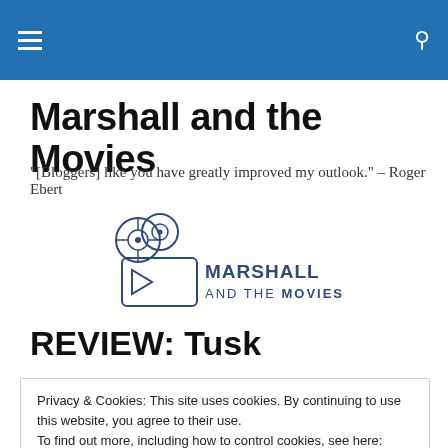Marshall and the Movies [navigation bar with hamburger menu and search icon]
Marshall and the Movies
"[Bloggers] like you have greatly improved my outlook." – Roger Ebert
[Figure (logo): Marshall and the Movies logo with film reel and camera icon, dark blue text]
REVIEW: Tusk
Privacy & Cookies: This site uses cookies. By continuing to use this website, you agree to their use.
To find out more, including how to control cookies, see here: Cookie Policy
Close and accept